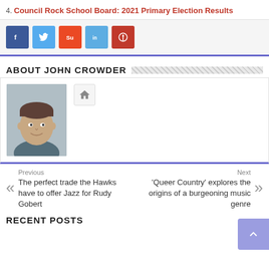4. Council Rock School Board: 2021 Primary Election Results
[Figure (infographic): Social share buttons: Facebook (blue), Twitter (light blue), StumbleUpon (orange-red), LinkedIn (light blue), Pinterest (red)]
ABOUT JOHN CROWDER
[Figure (photo): Headshot photo of John Crowder, a man with short brown hair, smiling, wearing a suit]
Previous
The perfect trade the Hawks have to offer Jazz for Rudy Gobert
Next
'Queer Country' explores the origins of a burgeoning music genre
RECENT POSTS